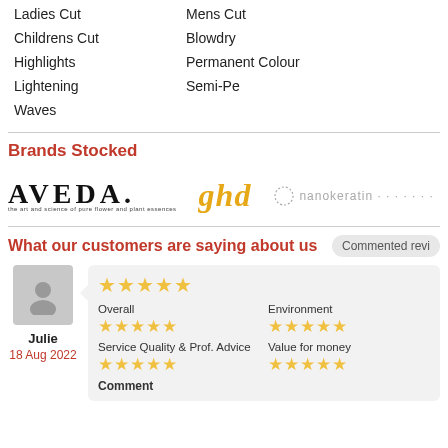Ladies Cut
Mens Cut
Childrens Cut
Blowdry
Highlights
Permanent Colour
Lightening
Semi-Pe
Waves
Brands Stocked
[Figure (logo): AVEDA logo with tagline 'the art and science of pure flower and plant essences']
[Figure (logo): ghd logo in orange/gold]
[Figure (logo): nanokeratin logo with dotted circle icon]
What our customers are saying about us
Commented revi
Julie
18 Aug 2022
Overall
Environment
Service Quality & Prof. Advice
Value for money
Comment